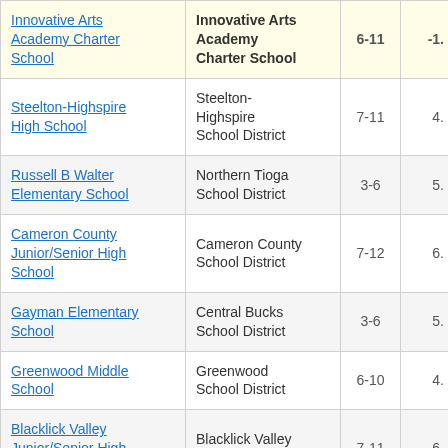| School | District | Grades | Score |
| --- | --- | --- | --- |
| Innovative Arts Academy Charter School | Innovative Arts Academy Charter School | 6-11 | -1. |
| Steelton-Highspire High School | Steelton-Highspire School District | 7-11 | 4. |
| Russell B Walter Elementary School | Northern Tioga School District | 3-6 | 5. |
| Cameron County Junior/Senior High School | Cameron County School District | 7-12 | 6. |
| Gayman Elementary School | Central Bucks School District | 3-6 | 5. |
| Greenwood Middle School | Greenwood School District | 6-10 | 4. |
| Blacklick Valley Junior/Senior High School | Blacklick Valley School District | 7-11 | 6. |
| Contentville Middle… | Hare field… |  |  |